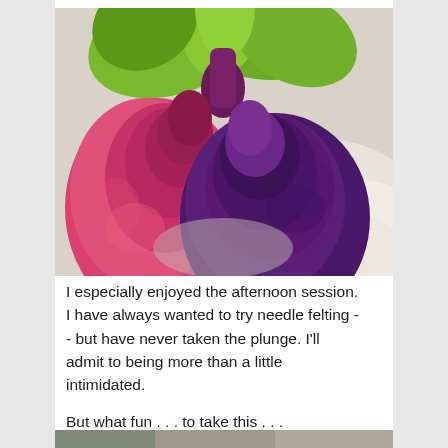[Figure (photo): Close-up photograph of needle-felted wool vegetables resembling beets or radishes. The felted pieces show vibrant colors: bright green for the leafy tops, deep magenta and pink for one root vegetable, and dark purple for another, resting on a white textured surface.]
I especially enjoyed the afternoon session.  I have always wanted to try needle felting -- but have never taken the plunge.   I'll admit to being more than a little intimidated.
But what fun . . . to take this . . .
[Figure (photo): Partial view of another photograph at the bottom of the page, mostly cut off.]